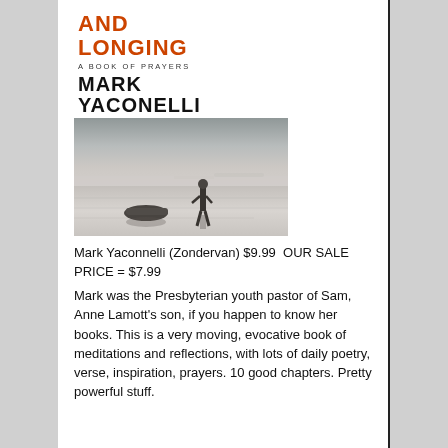[Figure (photo): Book cover for 'And Longing: A Book of Prayers' by Mark Yaconelli. Top portion shows title in orange bold text, subtitle 'A Book of Prayers' in small caps, and author name 'Mark Yaconelli' in large black bold text. Bottom portion is a black and white photograph of a person standing in shallow water near a small boat on a beach.]
Mark Yaconnelli (Zondervan) $9.99  OUR SALE PRICE = $7.99
Mark was the Presbyterian youth pastor of Sam, Anne Lamott's son, if you happen to know her books. This is a very moving, evocative book of meditations and reflections, with lots of daily poetry, verse, inspiration, prayers. 10 good chapters. Pretty powerful stuff.